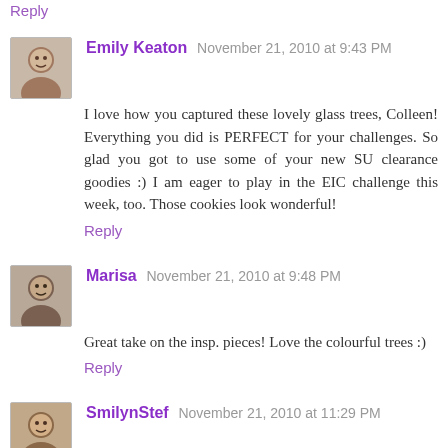Reply
Emily Keaton  November 21, 2010 at 9:43 PM
I love how you captured these lovely glass trees, Colleen! Everything you did is PERFECT for your challenges. So glad you got to use some of your new SU clearance goodies :) I am eager to play in the EIC challenge this week, too. Those cookies look wonderful!
Reply
Marisa  November 21, 2010 at 9:48 PM
Great take on the insp. pieces! Love the colourful trees :)
Reply
SmilynStef  November 21, 2010 at 11:29 PM
Love the embossed background and those fabulous trees ... wonderful Etsy Inspired design.